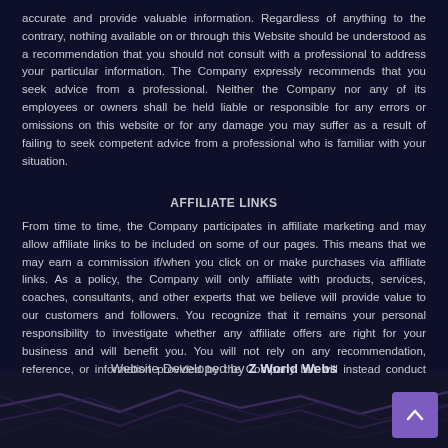accurate and provide valuable information. Regardless of anything to the contrary, nothing available on or through this Website should be understood as a recommendation that you should not consult with a professional to address your particular information. The Company expressly recommends that you seek advice from a professional. Neither the Company nor any of its employees or owners shall be held liable or responsible for any errors or omissions on this website or for any damage you may suffer as a result of failing to seek competent advice from a professional who is familiar with your situation.
AFFILIATE LINKS
From time to time, the Company participates in affiliate marketing and may allow affiliate links to be included on some of our pages. This means that we may earn a commission if/when you click on or make purchases via affiliate links. As a policy, the Company will only affiliate with products, services, coaches, consultants, and other experts that we believe will provide value to our customers and followers. You recognize that it remains your personal responsibility to investigate whether any affiliate offers are right for your business and will benefit you. You will not rely on any recommendation, reference, or information provided by the Company but will instead conduct your own investigation and will rely upon your investigation to decide whether to purchase the affiliate product or service.
Website Developed by Z World Webs